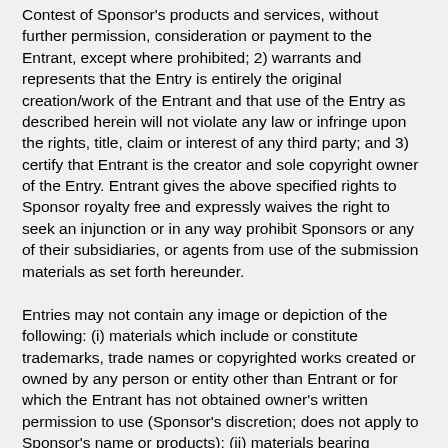Contest of Sponsor's products and services, without further permission, consideration or payment to the Entrant, except where prohibited; 2) warrants and represents that the Entry is entirely the original creation/work of the Entrant and that use of the Entry as described herein will not violate any law or infringe upon the rights, title, claim or interest of any third party; and 3) certify that Entrant is the creator and sole copyright owner of the Entry. Entrant gives the above specified rights to Sponsor royalty free and expressly waives the right to seek an injunction or in any way prohibit Sponsors or any of their subsidiaries, or agents from use of the submission materials as set forth hereunder.
Entries may not contain any image or depiction of the following: (i) materials which include or constitute trademarks, trade names or copyrighted works created or owned by any person or entity other than Entrant or for which the Entrant has not obtained owner's written permission to use (Sponsor's discretion; does not apply to Sponsor's name or products); (ii) materials bearing profanities, or bearing the name or likeness of any celebrity, living or dead; (iii) materials which contain visible identifiable or potentially identifiable information, including but not limited to, phone numbers, website links, street addresses, email addresses or license plate numbers; (iv) inappropriate behavior for a general audience; (v) any depiction of real or simulated sexual acts; (vi) violence in any form; (vi) materials which violate anyone's reasonable privacy expectations, violate any known agreement, or which are defamatory in nature; (vii) materials which are derogatory to Sponsor, or any affiliated entity or person; (ix) materials which are discriminatory based on race, religion, national origin, physical disability, age, sex, or sexual